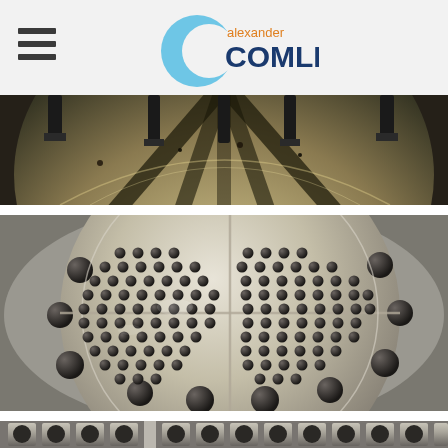alexander COMLEY
[Figure (photo): CNC machining operation on a large circular metal component with multiple cutting tools engaged, showing metal chips and coolant]
[Figure (photo): Large circular metal tubesheet or flange with hundreds of drilled holes arranged in a pattern, with a cross-shaped divider, shown during machining with coolant]
[Figure (photo): Partial view of a metal heat exchanger component showing multiple tube holes, partially visible at bottom of page]